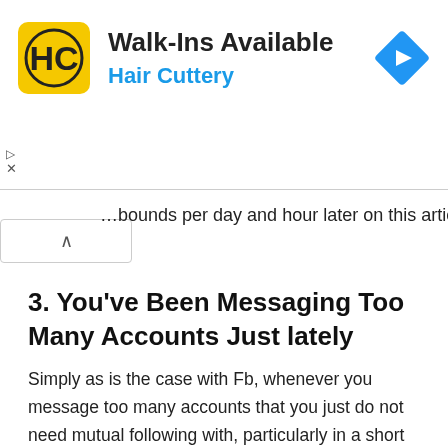[Figure (other): Advertisement banner for Hair Cuttery salon with logo, 'Walk-Ins Available' headline, and blue arrow navigation icon]
...bounds per day and hour later on this article.
3. You've Been Messaging Too Many Accounts Just lately
Simply as is the case with Fb, whenever you message too many accounts that you just do not need mutual following with, particularly in a short while body, your account will be seen as suspicious, ensuing within the Feedback_required error. Instagram does this to guard customers from robots, scammers, and stalkers. The error can even happen when you find yourself sending the